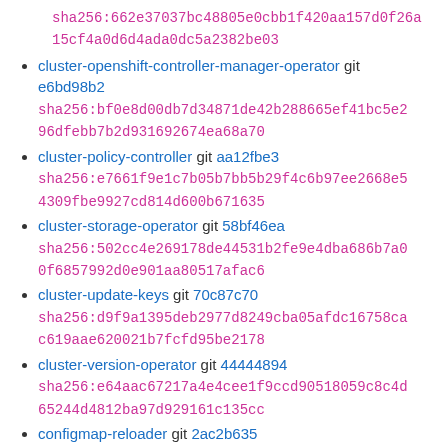sha256:662e37037bc48805e0cbb1f420aa157d0f26a15cf4a0d6d4ada0dc5a2382be03
cluster-openshift-controller-manager-operator git e6bd98b2
sha256:bf0e8d00db7d34871de42b288665ef41bc5e296dfebb7b2d931692674ea68a70
cluster-policy-controller git aa12fbe3
sha256:e7661f9e1c7b05b7bb5b29f4c6b97ee2668e54309fbe9927cd814d600b671635
cluster-storage-operator git 58bf46ea
sha256:502cc4e269178de44531b2fe9e4dba686b7a00f6857992d0e901aa80517afac6
cluster-update-keys git 70c87c70
sha256:d9f9a1395deb2977d8249cba05afdc16758cac619aae620021b7fcfd95be2178
cluster-version-operator git 44444894
sha256:e64aac67217a4e4cee1f9ccd90518059c8c4d65244d4812ba97d929161c135cc
configmap-reloader git 2ac2b635